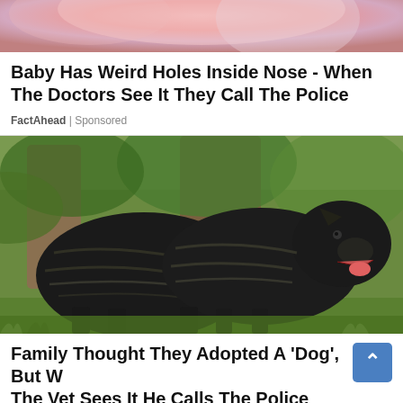[Figure (photo): Partial cropped image at top showing pinkish/reddish background, likely a close-up of skin or face, partially cut off]
Baby Has Weird Holes Inside Nose - When The Doctors See It They Call The Police
FactAhead | Sponsored
[Figure (photo): Two large black Cane Corso dogs standing outdoors in a grassy area with trees and rocks in the background. The dogs have gray striped markings on their black coats.]
Family Thought They Adopted A 'Dog', But When The Vet Sees It He Calls The Police